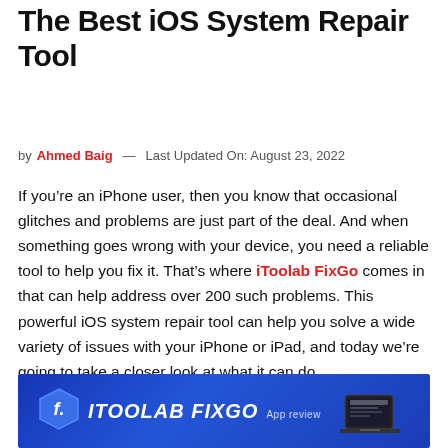The Best iOS System Repair Tool
by Ahmed Baig — Last Updated On: August 23, 2022
If you’re an iPhone user, then you know that occasional glitches and problems are just part of the deal. And when something goes wrong with your device, you need a reliable tool to help you fix it. That’s where iToolab FixGo comes in that can help address over 200 such problems. This powerful iOS system repair tool can help you solve a wide variety of issues with your iPhone or iPad, and today we’re going to take a closer look at what it can do.
[Figure (screenshot): iToolab FixGo app review banner with blue background, logo icon, title text 'ITOOLAB FIXGO' and 'App review' subtitle, with a laptop/device image at the bottom right.]